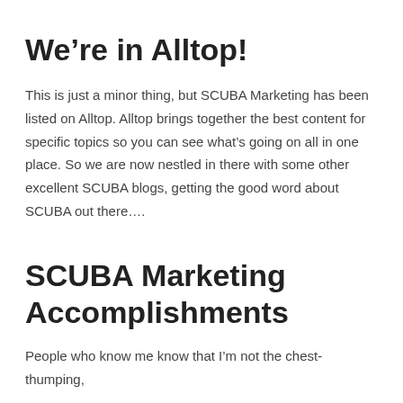We're in Alltop!
This is just a minor thing, but SCUBA Marketing has been listed on Alltop. Alltop brings together the best content for specific topics so you can see what's going on all in one place. So we are now nestled in there with some other excellent SCUBA blogs, getting the good word about SCUBA out there….
SCUBA Marketing Accomplishments
People who know me know that I'm not the chest-thumping, bobb...